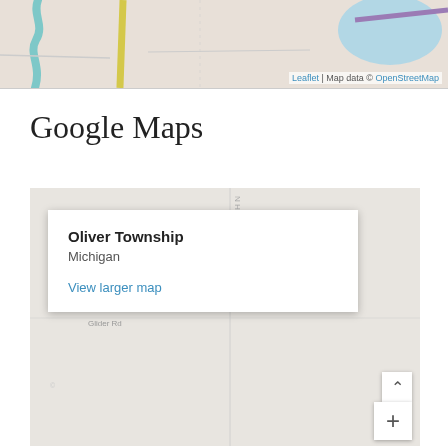[Figure (map): Leaflet map snippet showing terrain with a river/water feature on the left, a yellow road in the center, and a water body and purple road on the right. Attribution reads: Leaflet | Map data © OpenStreetMap]
Google Maps
[Figure (map): Google Maps embedded map showing Oliver Township, Michigan with a popup overlay containing the place name, region, and a 'View larger map' link. Road labels include Carjot Rd and Glider Rd. Map controls include an up-arrow button and a plus (+) zoom button.]